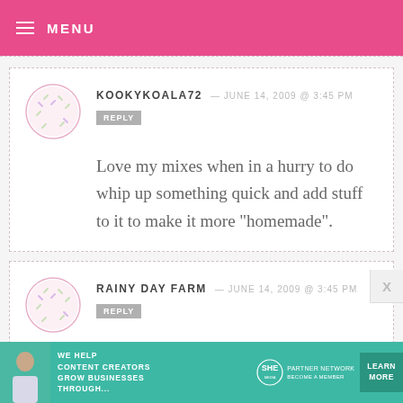MENU
KOOKYKOALA72 — JUNE 14, 2009 @ 3:45 PM
REPLY
Love my mixes when in a hurry to do whip up something quick and add stuff to it to make it more "homemade".
RAINY DAY FARM — JUNE 14, 2009 @ 3:45 PM
REPLY
Oh so yummy. All Dad's will love that.
[Figure (infographic): SHE Media partner network advertisement banner: WE HELP CONTENT CREATORS GROW BUSINESSES THROUGH... with LEARN MORE button]